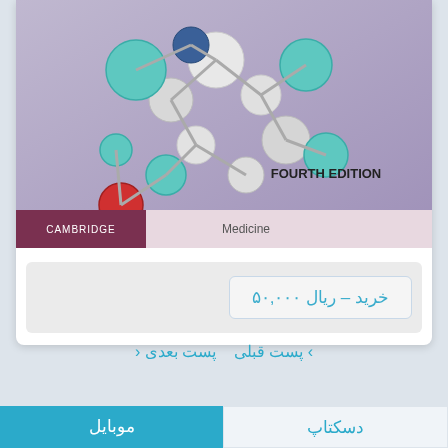[Figure (photo): Book cover of a Cambridge Medicine Fourth Edition textbook showing a 3D molecular model with teal, white, and red atom spheres on a purple/lavender background. Bottom strip shows CAMBRIDGE and Medicine labels.]
خرید – ريال ۵۰,۰۰۰
› پست قبلی پست بعدی ‹
دسکتاپ
موبایل